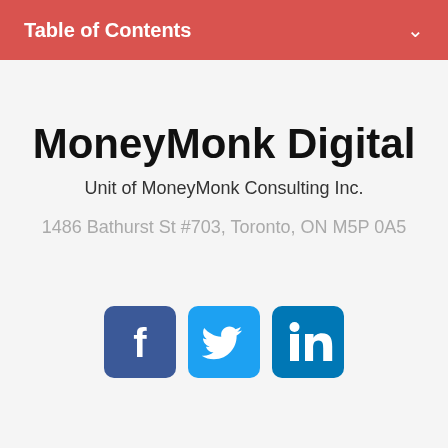Table of Contents
MoneyMonk Digital
Unit of MoneyMonk Consulting Inc.
1486 Bathurst St #703, Toronto, ON M5P 0A5
[Figure (logo): Social media icons: Facebook, Twitter, LinkedIn]